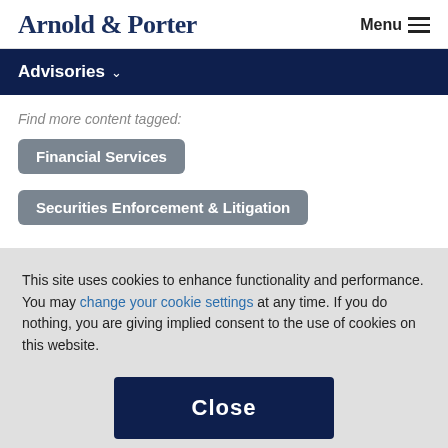Arnold & Porter   Menu
Advisories
Find more content tagged:
Financial Services
Securities Enforcement & Litigation
This site uses cookies to enhance functionality and performance. You may change your cookie settings at any time. If you do nothing, you are giving implied consent to the use of cookies on this website.
Close